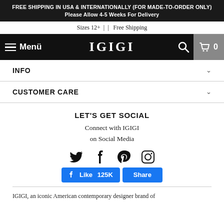FREE SHIPPING IN USA & INTERNATIONALLY (FOR MADE-TO-ORDER ONLY) Please Allow 4-5 Weeks For Delivery
Sizes 12+ |  |  Free Shipping
[Figure (screenshot): Navigation bar with hamburger menu, 'Menü' label, IGIGI logo, search icon, and cart icon with count 0]
INFO
CUSTOMER CARE
LET'S GET SOCIAL
Connect with IGIGI on Social Media
[Figure (illustration): Social media icons: Twitter, Facebook, Pinterest, Instagram]
[Figure (screenshot): Facebook Like (125K) and Share buttons]
IGIGI, an iconic American contemporary designer brand of